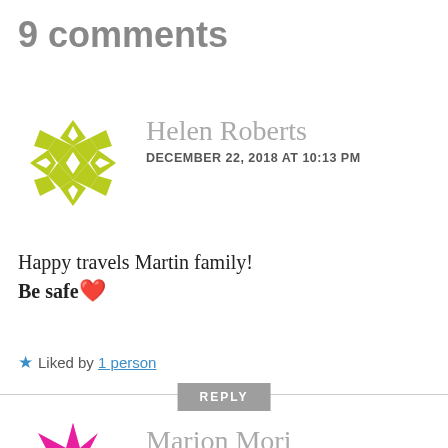9 comments
[Figure (illustration): Yellow/olive geometric quilt-pattern circular avatar for Helen Roberts]
Helen Roberts
DECEMBER 22, 2018 AT 10:13 PM
Happy travels Martin family! Be safe ❤️
★ Liked by 1 person
[Figure (illustration): Pink/magenta geometric star-burst circular avatar for Marion Mori]
Marion Mori
DECEMBER 23, 2018 AT 7:17 AM